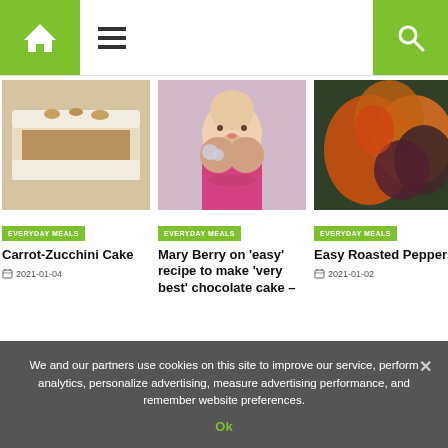Navigation header with home icon, menu icon, and search icon
[Figure (photo): Carrot-Zucchini Cake slice with white frosting and nut topping]
EVERYDAY MEALS
Carrot-Zucchini Cake
2021-01-04
[Figure (photo): Mary Berry smiling with a chocolate cake on a stand]
EVERYDAY MEALS
Mary Berry on 'easy' recipe to make 'very best' chocolate cake –
[Figure (photo): Easy Roasted Peppers colorful orange and dark peppers]
EVERYDAY MEALS
Easy Roasted Peppers
2021-01-02
We and our partners use cookies on this site to improve our service, perform analytics, personalize advertising, measure advertising performance, and remember website preferences.
Ok